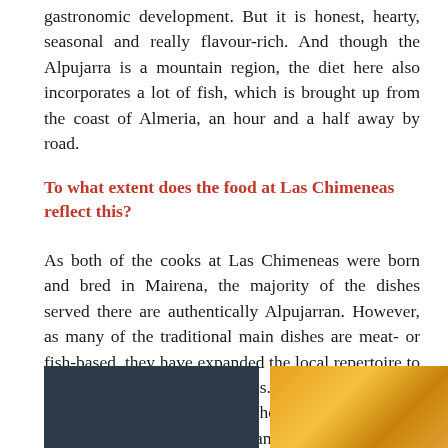gastronomic development. But it is honest, hearty, seasonal and really flavour-rich. And though the Alpujarra is a mountain region, the diet here also incorporates a lot of fish, which is brought up from the coast of Almeria, an hour and a half away by road.
To what extent does the food at Las Chimeneas reflect this?
As both of the cooks at Las Chimeneas were born and bred in Mairena, the majority of the dishes served there are authentically Alpujarran. However, as many of the traditional main dishes are meat- or fish-based, they have expanded the local repertoire to include more vegetarian dishes. Most of these make good use of local ingredients, however, such as local nuts, vegetables, wild herbs and Alpujarran sheep's and goat's milk cheeses.
[Figure (photo): Dark blue/navy fabric or textile background]
[Figure (photo): Orange sliced fruit with green herbs garnish]